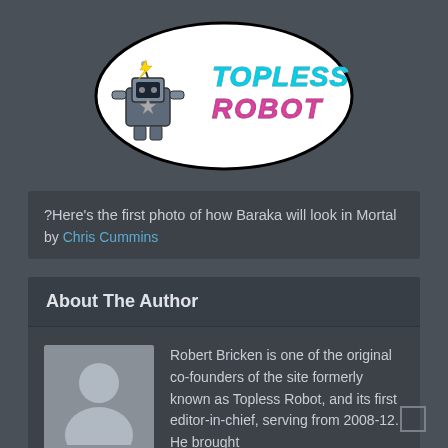[Figure (logo): Topless Robot logo — a cartoon robot character with lightning bolts and the text 'TOPLESS ROBOT' in stylized neon-retro lettering on a white sticker-style badge]
?Here's the first photo of how Baraka will look in Mortal
by Chris Cummins
About The Author
[Figure (photo): Generic grey silhouette/placeholder avatar for author photo]
Robert Bricken is one of the original co-founders of the site formerly known as Topless Robot, and its first editor-in-chief, serving from 2008-12. He brought